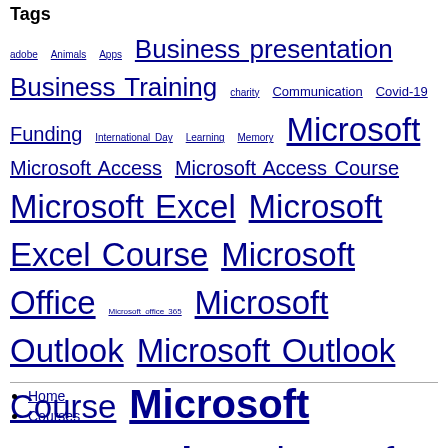Tags
adobe Animals Apps Business presentation Business Training charity Communication Covid-19 Funding International Day Learning Memory Microsoft Microsoft Access Microsoft Access Course Microsoft Excel Microsoft Excel Course Microsoft Office Microsoft office 365 Microsoft Outlook Microsoft Outlook Course Microsoft PowerPoint Microsoft PowerPoint Course Microsoft PowerPoint Tip Microsoft Project Microsoft Project Course Microsoft VBA Microsoft Visio Microsoft Visio Course Microsoft Word Microsoft Word Course other Pets Presentation Presentation Courses Presentation Skills productivity promotion Soft Skills stress management Time Management VBA Visual Basic Application Women's History Working From Home
Home
Courses